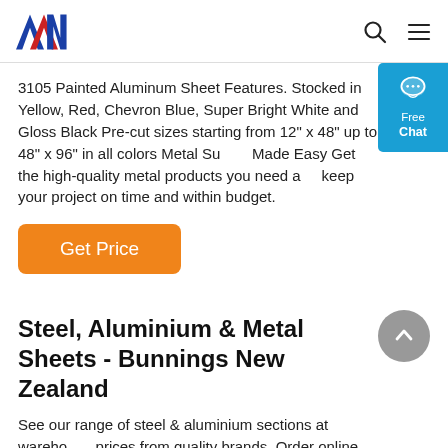AAN logo with search and menu icons
3105 Painted Aluminum Sheet Features. Stocked in Yellow, Red, Chevron Blue, Super Bright White and Gloss Black Pre-cut sizes starting from 12" x 48" up to 48" x 96" in all colors Metal Supply Made Easy Get the high-quality metal products you need and keep your project on time and within budget.
Get Price
Steel, Aluminium & Metal Sheets - Bunnings New Zealand
See our range of steel & aluminium sections at warehouse prices from quality brands. Order online for delivery or Click & Collect at your nearest Bunnings.